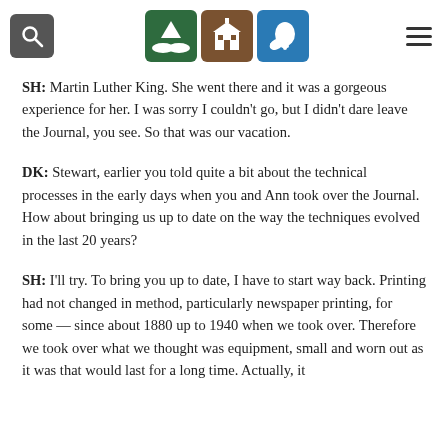[Navigation header with search icon, three logo icons (green tree/landscape, brown schoolhouse, blue bell/town crier), and hamburger menu]
SH: Martin Luther King. She went there and it was a gorgeous experience for her. I was sorry I couldn't go, but I didn't dare leave the Journal, you see. So that was our vacation.
DK: Stewart, earlier you told quite a bit about the technical processes in the early days when you and Ann took over the Journal. How about bringing us up to date on the way the techniques evolved in the last 20 years?
SH: I'll try. To bring you up to date, I have to start way back. Printing had not changed in method, particularly newspaper printing, for some — since about 1880 up to 1940 when we took over. Therefore we took over what we thought was equipment, small and worn out as it was that would last for a long time. Actually, it